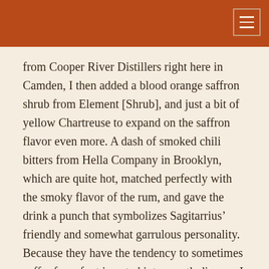from Cooper River Distillers right here in Camden, I then added a blood orange saffron shrub from Element [Shrub], and just a bit of yellow Chartreuse to expand on the saffron flavor even more. A dash of smoked chili bitters from Hella Company in Brooklyn, which are quite hot, matched perfectly with the smoky flavor of the rum, and gave the drink a punch that symbolizes Sagitarrius’ friendly and somewhat garrulous personality. Because they have the tendency to sometimes suffer from foot inserted into mouth disease, I also added a dash of simple syrup to soften up some of the very forward spice in this cocktail. You can definitely add more if you need to; no two Sagittarians will ever be the same!